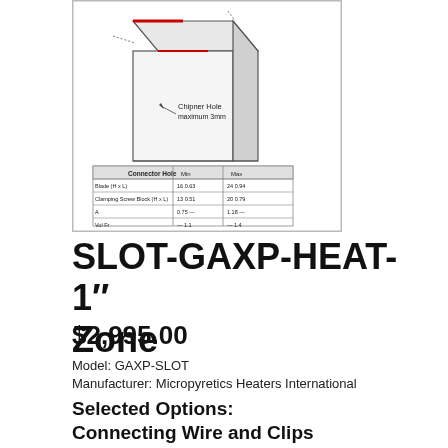[Figure (engineering-diagram): Technical diagram of a slot heater component (GAXP-SLOT) showing a box-like heater element with a 'Chipner Hole' label, dimensional annotations, and a small table with dimensional values.]
SLOT-GAXP-HEAT-1″ Zone
$2,995.00
Model: GAXP-SLOT
Manufacturer: Micropyretics Heaters International
Selected Options:
Connecting Wire and Clips
None
Stand